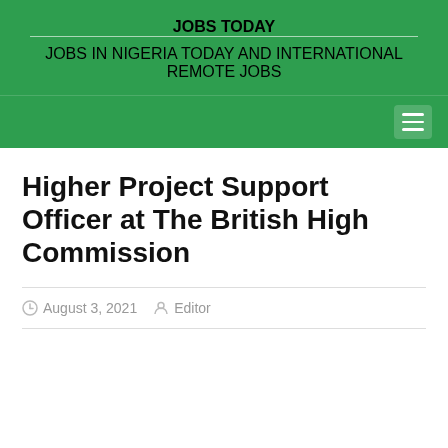JOBS TODAY
JOBS IN NIGERIA TODAY AND INTERNATIONAL REMOTE JOBS
Higher Project Support Officer at The British High Commission
August 3, 2021  Editor